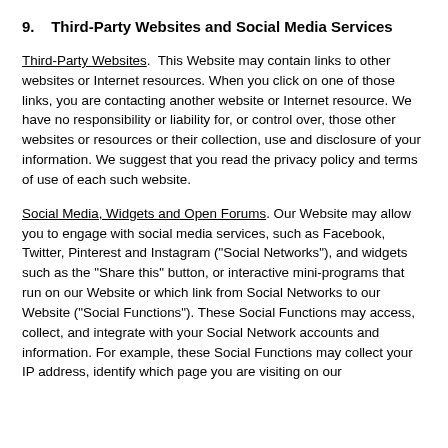9.    Third-Party Websites and Social Media Services
Third-Party Websites.  This Website may contain links to other websites or Internet resources. When you click on one of those links, you are contacting another website or Internet resource. We have no responsibility or liability for, or control over, those other websites or resources or their collection, use and disclosure of your information. We suggest that you read the privacy policy and terms of use of each such website.
Social Media, Widgets and Open Forums. Our Website may allow you to engage with social media services, such as Facebook, Twitter, Pinterest and Instagram ("Social Networks"), and widgets such as the "Share this" button, or interactive mini-programs that run on our Website or which link from Social Networks to our Website ("Social Functions"). These Social Functions may access, collect, and integrate with your Social Network accounts and information. For example, these Social Functions may collect your IP address, identify which page you are visiting on our